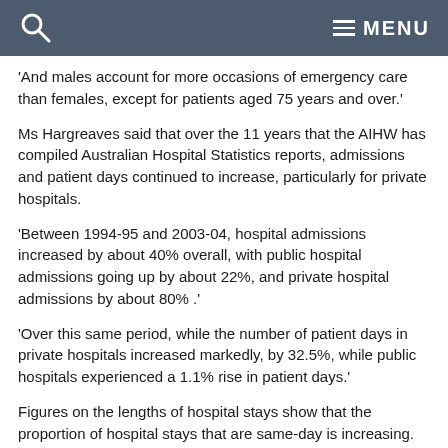MENU
'And males account for more occasions of emergency care than females, except for patients aged 75 years and over.'
Ms Hargreaves said that over the 11 years that the AIHW has compiled Australian Hospital Statistics reports, admissions and patient days continued to increase, particularly for private hospitals.
'Between 1994-95 and 2003-04, hospital admissions increased by about 40% overall, with public hospital admissions going up by about 22%, and private hospital admissions by about 80% .'
'Over this same period, while the number of patient days in private hospitals increased markedly, by 32.5%, while public hospitals experienced a 1.1% rise in patient days.'
Figures on the lengths of hospital stays show that the proportion of hospital stays that are same-day is increasing. Same-day stays increased from 40% in 1994-95 to 54% in 2003-